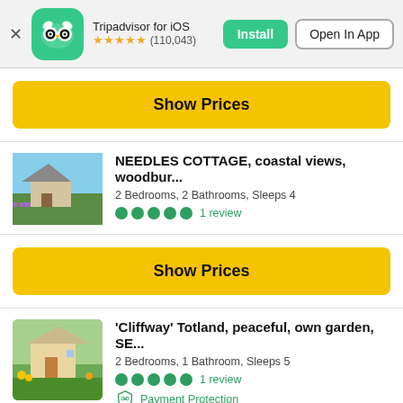[Figure (screenshot): Tripadvisor app banner with owl logo, star rating 4.5 (110,043), Install and Open In App buttons]
Show Prices
NEEDLES COTTAGE, coastal views, woodbur...
2 Bedrooms, 2 Bathrooms, Sleeps 4
●●●●● 1 review
Show Prices
'Cliffway' Totland, peaceful, own garden, SE...
2 Bedrooms, 1 Bathroom, Sleeps 5
●●●●● 1 review
Payment Protection